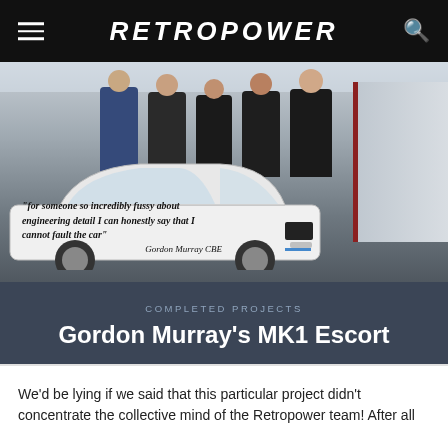RETROPOWER
[Figure (photo): Five men standing behind a white MK1 Ford Escort in a workshop/garage. A quote is overlaid on the car: '"for someone so incredibly fussy about engineering detail I can honestly say that I cannot fault the car" Gordon Murray CBE']
"for someone so incredibly fussy about engineering detail I can honestly say that I cannot fault the car" Gordon Murray CBE
COMPLETED PROJECTS
Gordon Murray's MK1 Escort
We'd be lying if we said that this particular project didn't concentrate the collective mind of the Retropower team! After all